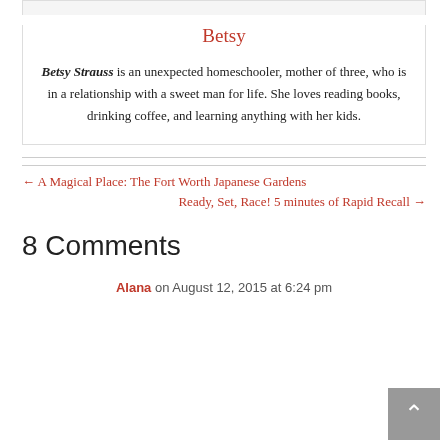[Figure (photo): Top portion of author photo (cropped at top of page)]
Betsy
Betsy Strauss is an unexpected homeschooler, mother of three, who is in a relationship with a sweet man for life. She loves reading books, drinking coffee, and learning anything with her kids.
← A Magical Place: The Fort Worth Japanese Gardens
Ready, Set, Race! 5 minutes of Rapid Recall →
8 Comments
Alana on August 12, 2015 at 6:24 pm